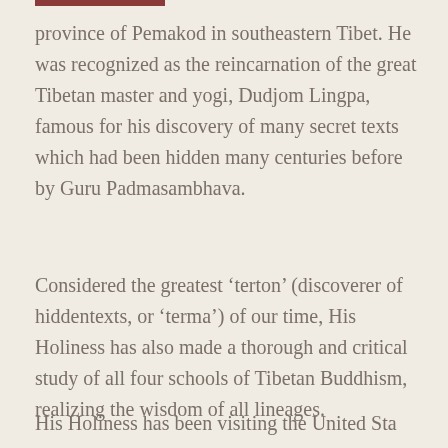province of Pemakod in southeastern Tibet. He was recognized as the reincarnation of the great Tibetan master and yogi, Dudjom Lingpa, famous for his discovery of many secret texts which had been hidden many centuries before by Guru Padmasambhava.
Considered the greatest ‘terton’ (discoverer of hiddentexts, or ‘terma’) of our time, His Holiness has also made a thorough and critical study of all four schools of Tibetan Buddhism, realizing the wisdom of all lineages.
His Holiness has been visiting the United Sta...